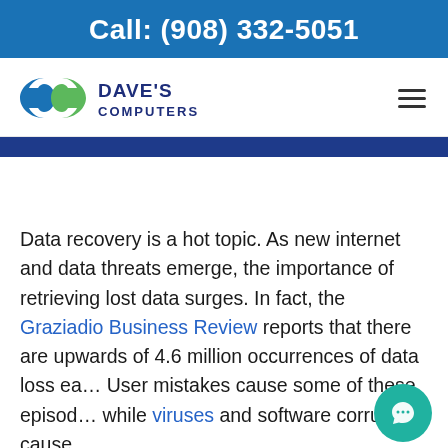Call: (908) 332-5051
[Figure (logo): Dave's Computers logo with a stylized 'DC' icon in blue and green and the text DAVE'S COMPUTERS in dark blue]
Data recovery is a hot topic. As new internet and data threats emerge, the importance of retrieving lost data surges. In fact, the Graziadio Business Review reports that there are upwards of 4.6 million occurrences of data loss ea... User mistakes cause some of these episod... while viruses and software corruption cause